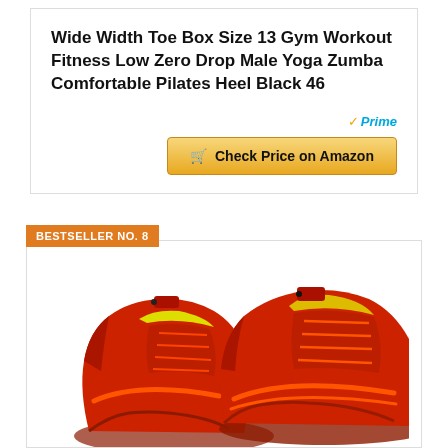Wide Width Toe Box Size 13 Gym Workout Fitness Low Zero Drop Male Yoga Zumba Comfortable Pilates Heel Black 46
[Figure (other): Amazon Prime badge with checkmark and 'Check Price on Amazon' button with cart icon]
BESTSELLER NO. 8
[Figure (photo): Two red minimalist barefoot athletic shoes with yellow insoles, shown from a side/top angle]